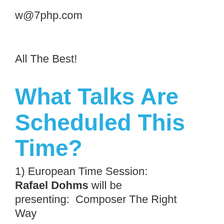w@7php.com
All The Best!
What Talks Are Scheduled This Time?
1) European Time Session: Rafael Dohms will be presenting:  Composer The Right Way